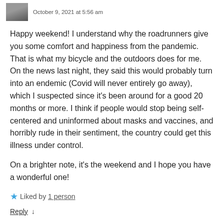October 9, 2021 at 5:56 am
Happy weekend! I understand why the roadrunners give you some comfort and happiness from the pandemic. That is what my bicycle and the outdoors does for me. On the news last night, they said this would probably turn into an endemic (Covid will never entirely go away), which I suspected since it's been around for a good 20 months or more. I think if people would stop being self-centered and uninformed about masks and vaccines, and horribly rude in their sentiment, the country could get this illness under control.
On a brighter note, it's the weekend and I hope you have a wonderful one!
★ Liked by 1 person
Reply ↓